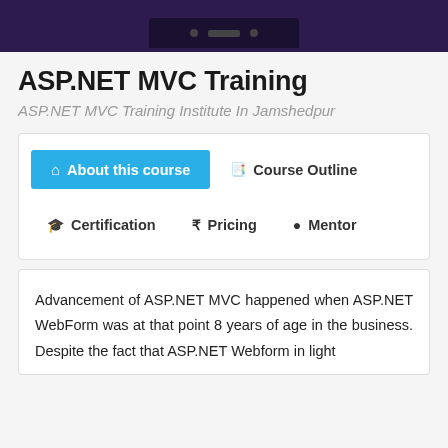[Figure (screenshot): Dark purple top banner with phone/device mockup silhouette at top of page]
ASP.NET MVC Training
ASP.NET MVC Training Institute In Jamshedpur
[Figure (screenshot): Navigation tab box with 'About this course' (active, blue), 'Course Outline', 'Certification', 'Pricing', 'Mentor' tabs]
Advancement of ASP.NET MVC happened when ASP.NET WebForm was at that point 8 years of age in the business. Despite the fact that ASP.NET Webform in light